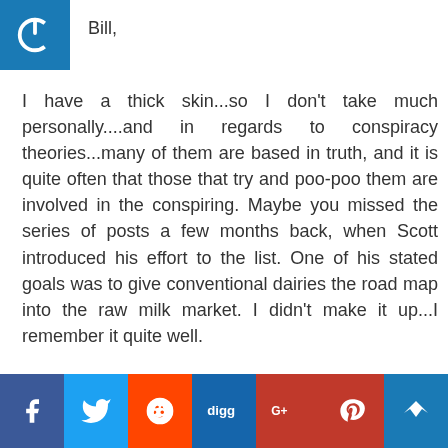[Figure (logo): Blue square icon with white power button symbol]
Bill,
I have a thick skin...so I don't take much personally....and in regards to conspiracy theories...many of them are based in truth, and it is quite often that those that try and poo-poo them are involved in the conspiring. Maybe you missed the series of posts a few months back, when Scott introduced his effort to the list. One of his stated goals was to give conventional dairies the road map into the raw milk market. I didn't make it up...I remember it quite well.
Miquel's wisdom far exceeds milk production and quality...and I do hope if this certification effort continues forward that he can be a part of...
[Figure (infographic): Social media sharing bar with Facebook, Twitter, Reddit, Digg, Google+, Pinterest, and crown icon buttons]